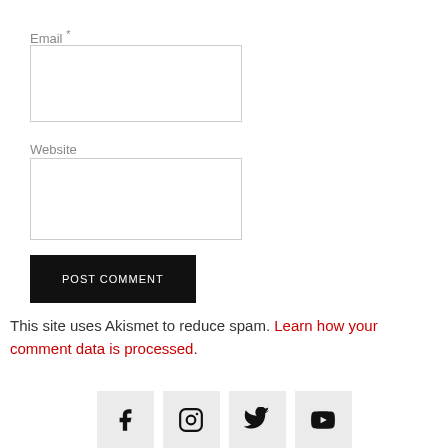Email *
[Figure (screenshot): Email input field (empty text box)]
Website
[Figure (screenshot): Website input field (empty text box)]
[Figure (screenshot): POST COMMENT button (black background, white uppercase text)]
This site uses Akismet to reduce spam. Learn how your comment data is processed.
[Figure (infographic): Social media icons: Facebook, Instagram, Twitter, YouTube on light grey square backgrounds]